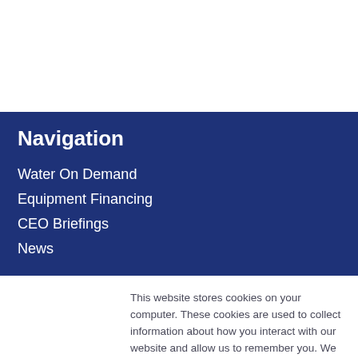Navigation
Water On Demand
Equipment Financing
CEO Briefings
News
This website stores cookies on your computer. These cookies are used to collect information about how you interact with our website and allow us to remember you. We use this information in order to improve and customize your browsing experience and for analytics and metrics about our visitors both on this website and other media. To find out more about the cookies we use, see our Privacy Policy.
Accept